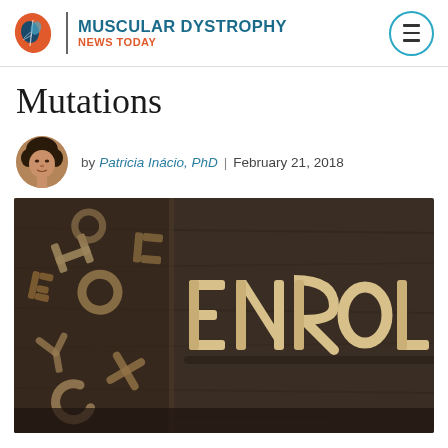MUSCULAR DYSTROPHY NEWS TODAY
Mutations
by Patricia Inácio, PhD | February 21, 2018
[Figure (photo): Wooden block letters spelling ENROL on a dark wooden surface, with more scattered wooden letters on the left side]